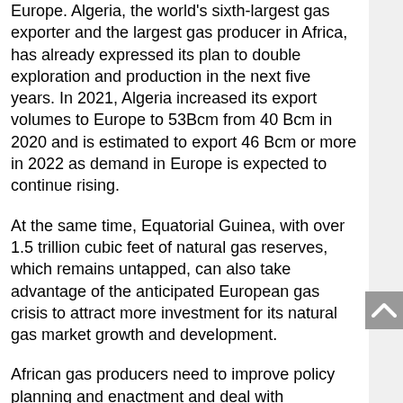Europe. Algeria, the world's sixth-largest gas exporter and the largest gas producer in Africa, has already expressed its plan to double exploration and production in the next five years. In 2021, Algeria increased its export volumes to Europe to 53Bcm from 40 Bcm in 2020 and is estimated to export 46 Bcm or more in 2022 as demand in Europe is expected to continue rising.
At the same time, Equatorial Guinea, with over 1.5 trillion cubic feet of natural gas reserves, which remains untapped, can also take advantage of the anticipated European gas crisis to attract more investment for its natural gas market growth and development.
African gas producers need to improve policy planning and enactment and deal with negotiation to make themselves attractive markets to partner with. AEC's annual summit African Energy Week (AEW) set to take place from 18 to 21 October 2022, will unite investors, regulatory authorities, oil and gas companies and oil and gas industry players under one roof